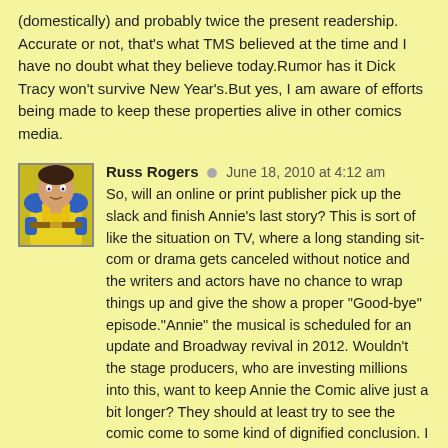(domestically) and probably twice the present readership. Accurate or not, that's what TMS believed at the time and I have no doubt what they believe today.Rumor has it Dick Tracy won't survive New Year's.But yes, I am aware of efforts being made to keep these properties alive in other comics media.
[Figure (illustration): Avatar image of a superhero character in yellow and blue costume]
Russ Rogers · June 18, 2010 at 4:12 am
So, will an online or print publisher pick up the slack and finish Annie's last story? This is sort of like the situation on TV, where a long standing sit-com or drama gets canceled without notice and the writers and actors have no chance to wrap things up and give the show a proper "Good-bye" episode."Annie" the musical is scheduled for an update and Broadway revival in 2012. Wouldn't the stage producers, who are investing millions into this, want to keep Annie the Comic alive just a bit longer? They should at least try to see the comic come to some kind of dignified conclusion. I would think that having Annie the Comic just fading into obscurity mid-story would not be good for "the Brand."